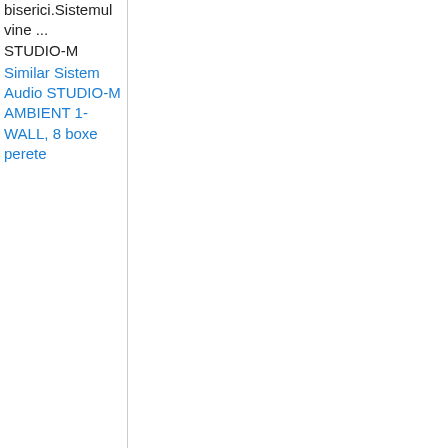biserici.Sistemul vine ...
STUDIO-M
Similar Sistem Audio STUDIO-M AMBIENT 1-WALL, 8 boxe perete